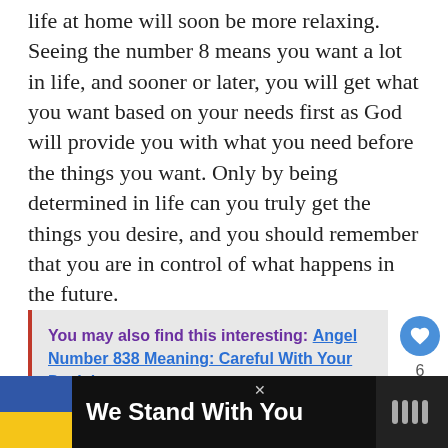life at home will soon be more relaxing. Seeing the number 8 means you want a lot in life, and sooner or later, you will get what you want based on your needs first as God will provide you with what you need before the things you want. Only by being determined in life can you truly get the things you desire, and you should remember that you are in control of what happens in the future.
You may also find this interesting: Angel Number 838 Meaning: Careful With Your Decisions
[Figure (infographic): Advertisement banner: black background with Ukrainian flag colors (blue and yellow square), text 'We Stand With You', close button X, and a logo on the right]